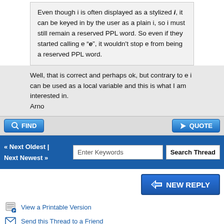Even though i is often displayed as a stylized i, it can be keyed in by the user as a plain i, so i must still remain a reserved PPL word. So even if they started calling e "e", it wouldn't stop e from being a reserved PPL word.
Well, that is correct and perhaps ok, but contrary to e i can be used as a local variable and this is what I am interested in.
Arno
« Next Oldest | Next Newest »
View a Printable Version
Send this Thread to a Friend
Subscribe to this thread
User(s) browsing this thread: 1 Guest(s)